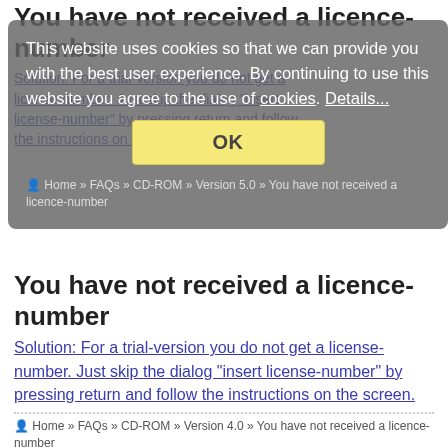[Figure (screenshot): Cookie consent overlay modal on a website FAQ page. Gray semi-transparent rounded rectangle with white text reading 'This website uses cookies so that we can provide you with the best user experience. By continuing to use this website you agree to the use of cookies.' with a blue underlined link 'Details...' and a yellow OK button.]
You have not received a licence-number
Solution: For a trial-version you do not get a license-number. Just skip the dialog "insert license-number" by pressing return and follow the instructions on the screen.
Home » FAQs » CD-ROM » Version 5.0 » You have not received a licence-number
You have not received a licence-number
Solution: For a trial-version you do not get a license-number. Just skip the dialog "insert license-number" by pressing return and follow the instructions on the screen.
Home » FAQs » CD-ROM » Version 4.0 » You have not received a licence-number
You have a licence-